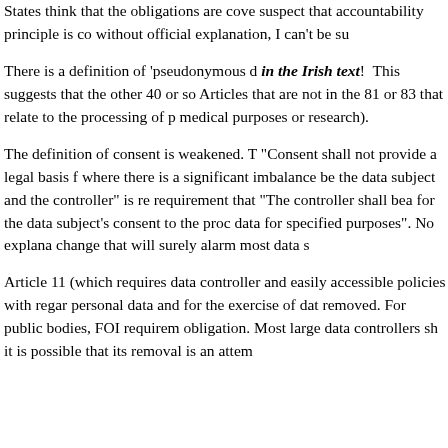States think that the obligations are cove suspect that accountability principle is co without official explanation, I can't be su
There is a definition of 'pseudonymous d in the Irish text! This suggests that the other 40 or so Articles that are not in the 81 or 83 that relate to the processing of medical purposes or research).
The definition of consent is weakened. T "Consent shall not provide a legal basis where there is a significant imbalance be the data subject and the controller" is re requirement that "The controller shall be for the data subject's consent to the pro data for specified purposes". No explana change that will surely alarm most data s
Article 11 (which requires data controller and easily accessible policies with rega personal data and for the exercise of da removed. For public bodies, FOI require obligation. Most large data controllers sh it is possible that its removal is an atten